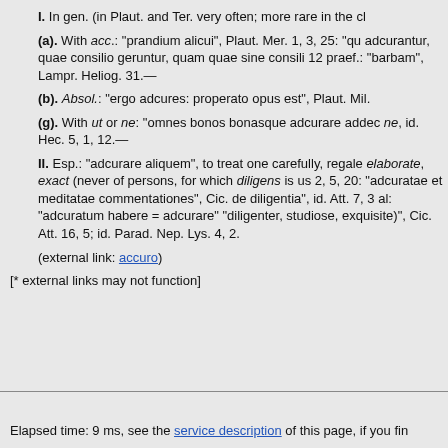I. In gen. (in Plaut. and Ter. very often; more rare in the cl
(a). With acc.: “prandium alicui”, Plaut. Mer. 1, 3, 25: “qu adcurantur, quae consilio geruntur, quam quae sine consili 12 praef.: “barbam”, Lampr. Heliog. 31.—
(b). Absol.: “ergo adcures: properato opus est”, Plaut. Mil.
(g). With ut or ne: “omnes bonos bonasque adcurare addec ne, id. Hec. 5, 1, 12.—
II. Esp.: “adcurare aliquem”, to treat one carefully, regale elaborate, exact (never of persons, for which diligens is us 2, 5, 20: “adcuratae et meditatae commentationes”, Cic. de diligentia”, id. Att. 7, 3 al: “adcuratum habere = adcurare” “diligenter, studiose, exquisite)”, Cic. Att. 16, 5; id. Parad. Nep. Lys. 4, 2.
(external link: accuro)
[* external links may not function]
Elapsed time: 9 ms, see the service description of this page, if you fin